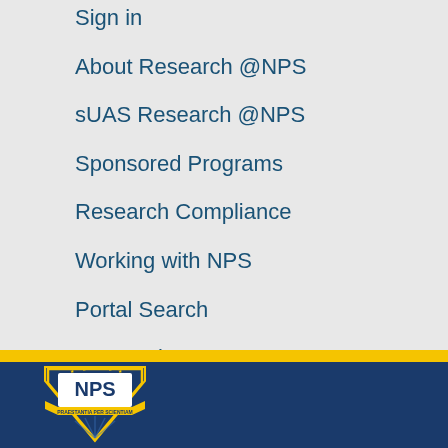Sign in
About Research @NPS
sUAS Research @NPS
Sponsored Programs
Research Compliance
Working with NPS
Portal Search
Summaries
[Figure (logo): NPS shield logo with text PRAESTANTIA PER SCIENTIAM on dark navy blue footer background]